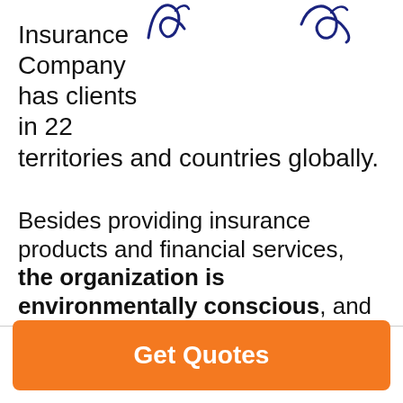[Figure (illustration): Two cursive/script signature decorative elements in dark navy blue at the top of the page]
Insurance Company has clients in 22 territories and countries globally.
Besides providing insurance products and financial services, the organization is environmentally conscious, and endeavors to give back to the community.
Compare Life Insurance Rates
Get Quotes